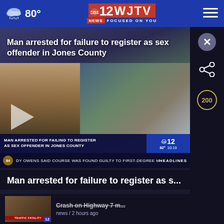80° WJTV 12 News Focused On You
[Figure (screenshot): News video screenshot showing man arrested for failure to register as sex offender in Jones County. Shows mugshot on left and outdoor arrest photo on right with lower-third chyron.]
Man arrested for failure to register as s...
[Figure (screenshot): Thumbnail for related story: Crash on highway with traffic fatality banner, news / 2 hours ago]